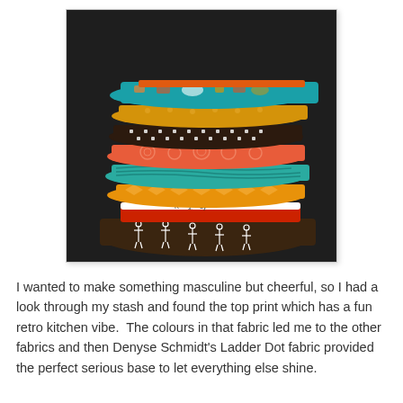[Figure (photo): A stack of folded fabric fat quarters in various colors and patterns including teal/turquoise, orange/red, mustard yellow, dark brown with white dots, coral/salmon swirls, teal wood grain, orange chevron, red and white selvedge, and dark brown with white stick figure people. Stacked on a dark textured background.]
I wanted to make something masculine but cheerful, so I had a look through my stash and found the top print which has a fun retro kitchen vibe.  The colours in that fabric led me to the other fabrics and then Denyse Schmidt's Ladder Dot fabric provided the perfect serious base to let everything else shine.